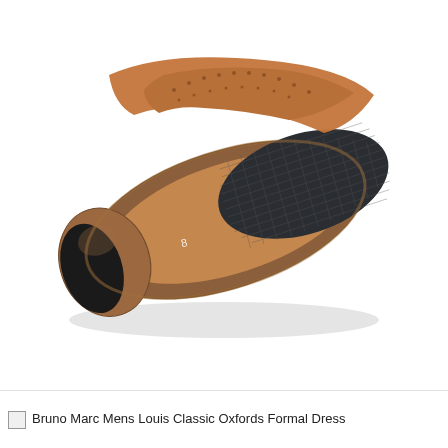[Figure (photo): Bottom view of a Bruno Marc Mens Louis Classic Oxford dress shoe sole. The sole is tan/copper brown leather with a black rubber toe cap and a dark charcoal non-slip rubber pad on the forefoot area. The shoe size number 8 is visible on the insole area. The upper of the shoe is visible at the top showing tan/cognac brogue leather with decorative perforations.]
Bruno Marc Mens Louis Classic Oxfords Formal Dress